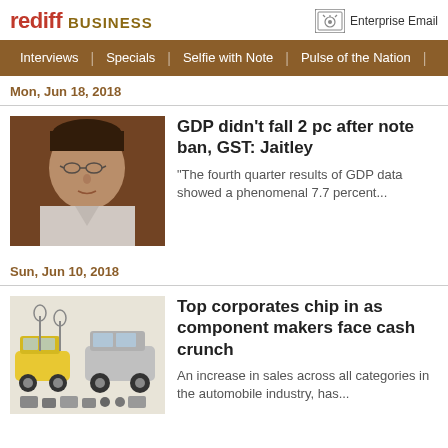rediff BUSINESS | Enterprise Email
Interviews | Specials | Selfie with Note | Pulse of the Nation
Mon, Jun 18, 2018
[Figure (photo): Portrait photo of a man in white shirt, middle-aged, wearing glasses]
GDP didn't fall 2 pc after note ban, GST: Jaitley
"The fourth quarter results of GDP data showed a phenomenal 7.7 percent...
Sun, Jun 10, 2018
[Figure (illustration): Illustration of cars and automobile engine components]
Top corporates chip in as component makers face cash crunch
An increase in sales across all categories in the automobile industry, has...